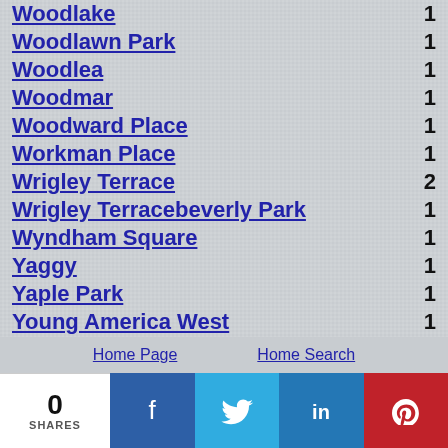Woodlake 1
Woodlawn Park 1
Woodlea 1
Woodmar 1
Woodward Place 1
Workman Place 1
Wrigley Terrace 2
Wrigley Terracebeverly Park 1
Wyndham Square 1
Yaggy 1
Yaple Park 1
Young America West 1
Zamora 1
Home Page    Home Search
0 SHARES